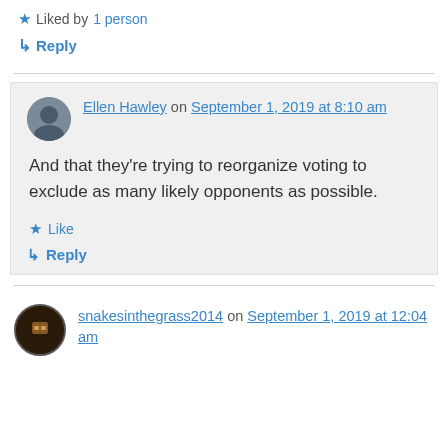★ Liked by 1 person
↳ Reply
Ellen Hawley on September 1, 2019 at 8:10 am
And that they're trying to reorganize voting to exclude as many likely opponents as possible.
★ Like
↳ Reply
snakesinthegrass2014 on September 1, 2019 at 12:04 am